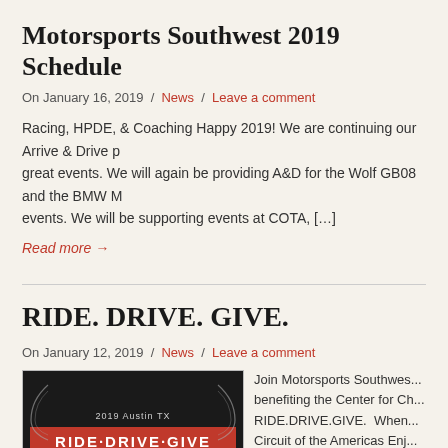Motorsports Southwest 2019 Schedule
On January 16, 2019  /  News  /  Leave a comment
Racing, HPDE, & Coaching Happy 2019! We are continuing our Arrive & Drive p... great events. We will again be providing A&D for the Wolf GB08 and the BMW M... events. We will be supporting events at COTA, [...]
Read more →
RIDE. DRIVE. GIVE.
On January 12, 2019  /  News  /  Leave a comment
[Figure (photo): 2019 Austin TX RIDE·DRIVE·GIVE event poster benefiting Center for Child Protection, black background with red banner]
Join Motorsports Southwes... benefiting the Center for Ch... RIDE.DRIVE.GIVE. When... Circuit of the Americas Enj... philanthropy at the 6th ann... further our mission to end t...